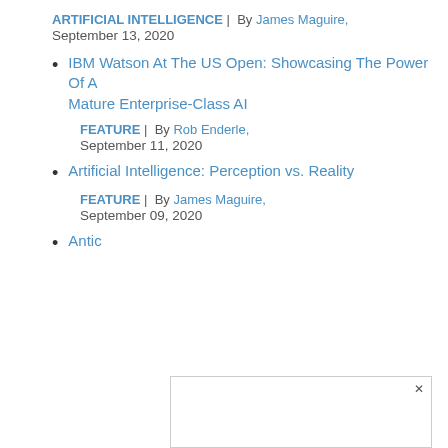ARTIFICIAL INTELLIGENCE | By James Maguire, September 13, 2020
IBM Watson At The US Open: Showcasing The Power Of A Mature Enterprise-Class AI
FEATURE | By Rob Enderle, September 11, 2020
Artificial Intelligence: Perception vs. Reality
FEATURE | By James Maguire, September 09, 2020
Antic